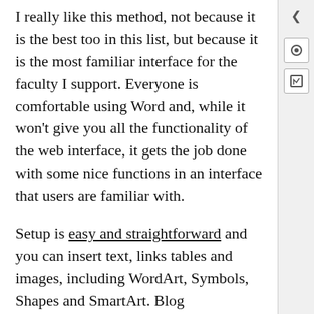I really like this method, not because it is the best tool in this list, but because it is the most familiar interface for the faculty I support. Everyone is comfortable using Word and, while it won't give you all the functionality of the web interface, it gets the job done with some nice functions in an interface that users are familiar with.
Setup is easy and straightforward and you can insert text, links tables and images, including WordArt, Symbols, Shapes and SmartArt. Blog management and organizational options are pretty minimal, but include the ability to post as a draft, and choose an existing blog category for the post. You can also open previous posts from your blog to edit.
A lack of headings in the toolbar is a frustration I have